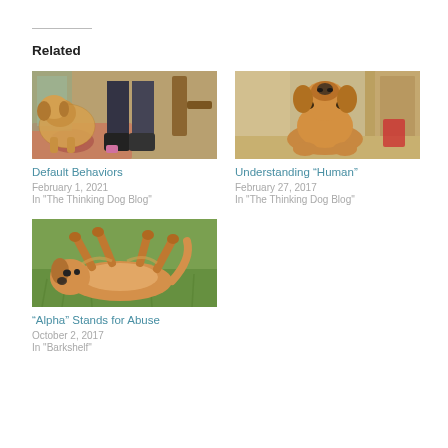Related
[Figure (photo): Dog standing next to person's legs with boots, on a patterned rug indoors]
Default Behaviors
February 1, 2021
In "The Thinking Dog Blog"
[Figure (photo): Golden retriever dog looking up at camera from floor near a doorway]
Understanding “Human”
February 27, 2017
In "The Thinking Dog Blog"
[Figure (photo): Golden dog rolling on grass outdoors]
“Alpha” Stands for Abuse
October 2, 2017
In "Barkshelf"